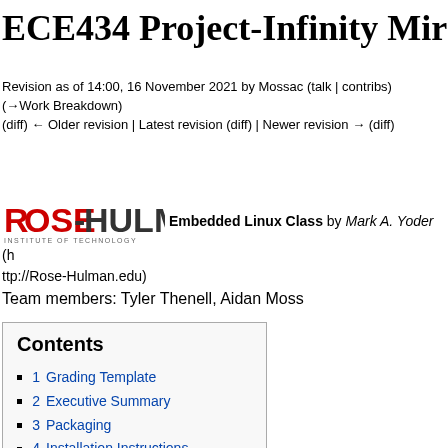ECE434 Project-Infinity Mirror
Revision as of 14:00, 16 November 2021 by Mossac (talk | contribs)
(→Work Breakdown)
(diff) ← Older revision | Latest revision (diff) | Newer revision → (diff)
[Figure (logo): Rose-Hulman Institute of Technology logo followed by text: Embedded Linux Class by Mark A. Yoder (http://Rose-Hulman.edu)]
Team members: Tyler Thenell, Aidan Moss
Contents
1  Grading Template
2  Executive Summary
3  Packaging
4  Installation Instructions
5  User Interaction